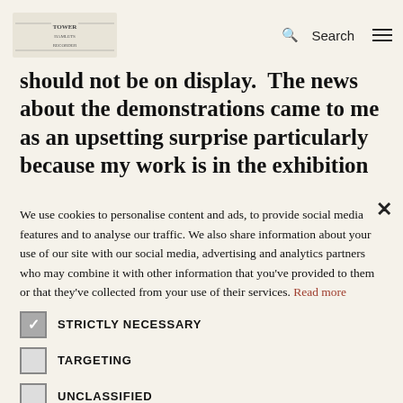[Logo] Search [Menu]
should not be on display. The news about the demonstrations came to me as an upsetting surprise particularly because my work is in the exhibition
We use cookies to personalise content and ads, to provide social media features and to analyse our traffic. We also share information about your use of our site with our social media, advertising and analytics partners who may combine it with other information that you've provided to them or that they've collected from your use of their services. Read more
STRICTLY NECESSARY (checked)
TARGETING (unchecked)
UNCLASSIFIED (unchecked)
ACCEPT ALL | DECLINE ALL
SHOW DETAILS